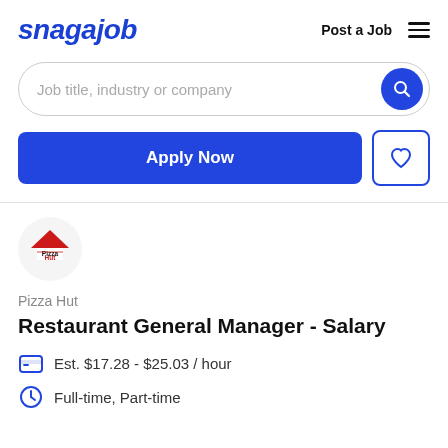snagajob   Post a Job  ☰
[Figure (screenshot): Search bar with placeholder text 'Job title, industry or company' and a blue circular search button]
Apply Now
Pizza Hut
Restaurant General Manager - Salary
Est. $17.28 - $25.03 / hour
Full-time, Part-time